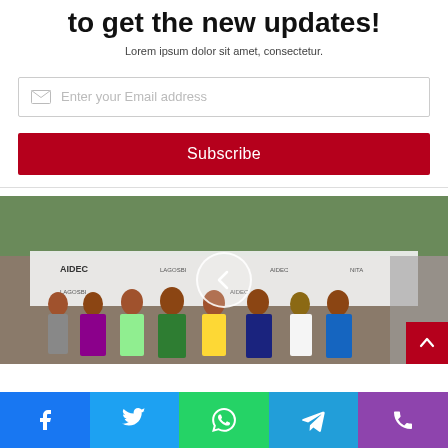to get the new updates!
Lorem ipsum dolor sit amet, consectetur.
Enter your Email address
Subscribe
[Figure (photo): Group photo of approximately 8 people standing in front of a branded backdrop showing AIDEC and other logos, outdoors near a building. A carousel navigation left-arrow button overlays the center of the image.]
[Figure (infographic): Social media share bar at bottom with Facebook, Twitter, WhatsApp, Telegram, and Phone icons]